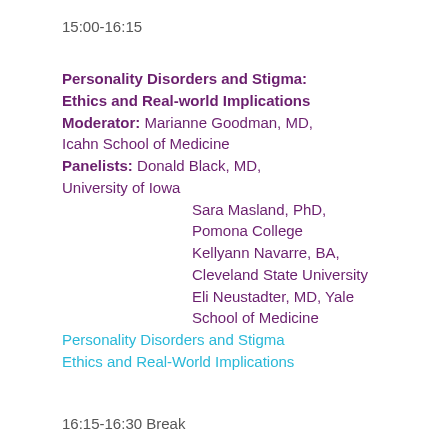15:00-16:15
Personality Disorders and Stigma: Ethics and Real-world Implications
Moderator:   Marianne Goodman, MD, Icahn School of Medicine
Panelists:      Donald Black, MD, University of Iowa
                    Sara Masland, PhD, Pomona College
                    Kellyann Navarre, BA, Cleveland State University
                    Eli Neustadter, MD, Yale School of Medicine
Personality Disorders and Stigma
Ethics and Real-World Implications
16:15-16:30 Break